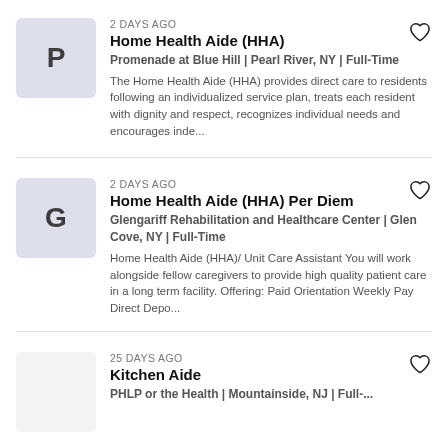2 DAYS AGO
Home Health Aide (HHA)
Promenade at Blue Hill | Pearl River, NY | Full-Time
The Home Health Aide (HHA) provides direct care to residents following an individualized service plan, treats each resident with dignity and respect, recognizes individual needs and encourages inde...
2 DAYS AGO
Home Health Aide (HHA) Per Diem
Glengariff Rehabilitation and Healthcare Center | Glen Cove, NY | Full-Time
Home Health Aide (HHA)/ Unit Care Assistant You will work alongside fellow caregivers to provide high quality patient care in a long term facility. Offering: Paid Orientation Weekly Pay Direct Depo...
25 DAYS AGO
Kitchen Aide
PHLP or the Health | Mountainside, NJ | Full-...